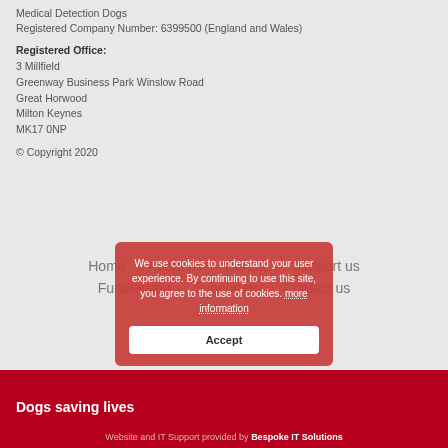Medical Detection Dogs
Registered Company Number: 6399500 (England and Wales)
Registered Office:
3 Millfield
Greenway Business Park Winslow Road
Great Horwood
Milton Keynes
MK17 0NP
© Copyright 2020
Home   About us   Donate   Support us
Fundraising   Supporters   Contact us
Privacy
We use cookies to understand your user experience. By continuing to use this site, you agree to the use of cookies. more information
Accept
Dogs saving lives
Website and IT Support provided by Bespoke IT Solutions